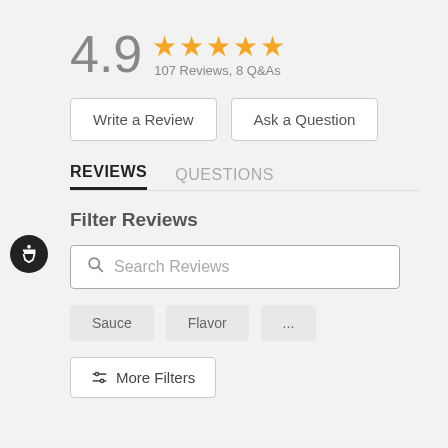4.9 ★★★★★ 107 Reviews, 8 Q&As
Write a Review
Ask a Question
REVIEWS  QUESTIONS
Filter Reviews
Search Reviews
Sauce
Flavor
...
More Filters